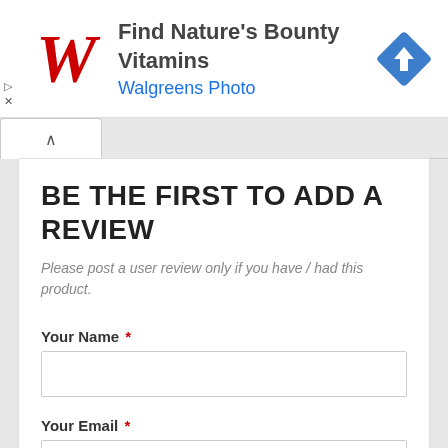[Figure (screenshot): Walgreens ad banner with red cursive W logo, text 'Find Nature's Bounty Vitamins' and 'Walgreens Photo' in blue, and a blue diamond navigation icon on the right]
BE THE FIRST TO ADD A REVIEW
Please post a user review only if you have / had this product.
Your Name *
Your Email *
Review Title *